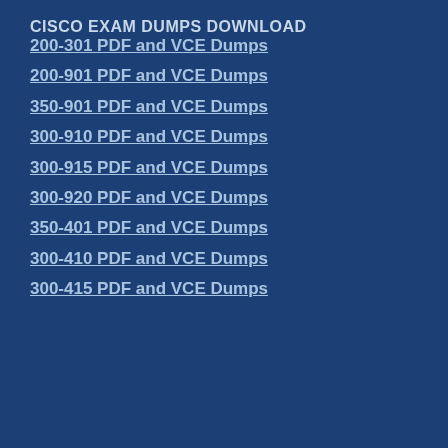CISCO EXAM DUMPS DOWNLOAD
200-301 PDF and VCE Dumps
200-901 PDF and VCE Dumps
350-901 PDF and VCE Dumps
300-910 PDF and VCE Dumps
300-915 PDF and VCE Dumps
300-920 PDF and VCE Dumps
350-401 PDF and VCE Dumps
300-410 PDF and VCE Dumps
300-415 PDF and VCE Dumps